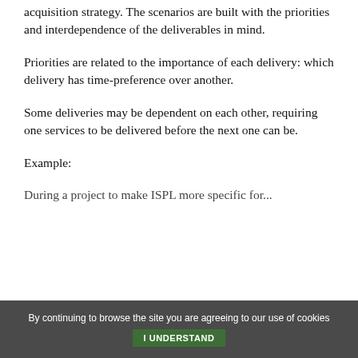acquisition strategy. The scenarios are built with the priorities and interdependence of the deliverables in mind.
Priorities are related to the importance of each delivery: which delivery has time-preference over another.
Some deliveries may be dependent on each other, requiring one services to be delivered before the next one can be.
Example:
During a project to make ISPL more specific for...
By continuing to browse the site you are agreeing to our use of cookies   I UNDERSTAND